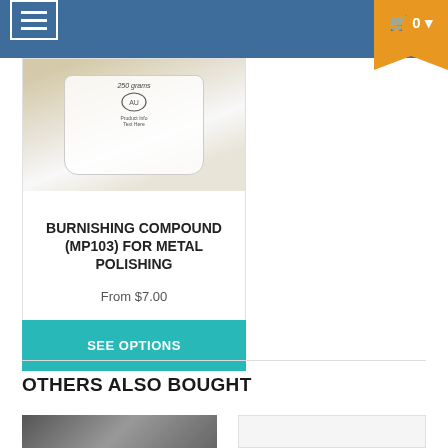[Figure (screenshot): Website navigation bar with hamburger menu icon on the left and orange cart badge with '0' on the right, on a steel blue background]
[Figure (photo): Product image of a white plastic bag of burnishing compound (250g) with Australian map logo and product label]
BURNISHING COMPOUND (MP103) FOR METAL POLISHING
From $7.00
SEE OPTIONS
OTHERS ALSO BOUGHT
[Figure (photo): Partial product thumbnail on the bottom left]
[Figure (photo): Partial product thumbnail on the bottom right, white/blank]